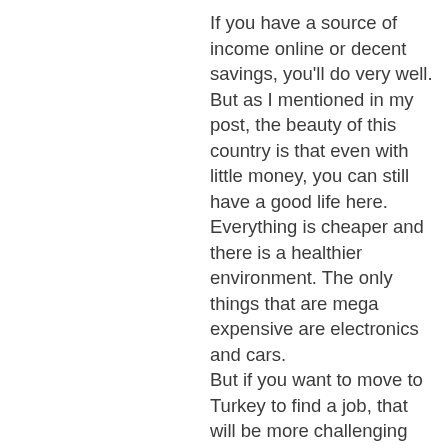If you have a source of income online or decent savings, you'll do very well. But as I mentioned in my post, the beauty of this country is that even with little money, you can still have a good life here. Everything is cheaper and there is a healthier environment. The only things that are mega expensive are electronics and cars. But if you want to move to Turkey to find a job, that will be more challenging though.